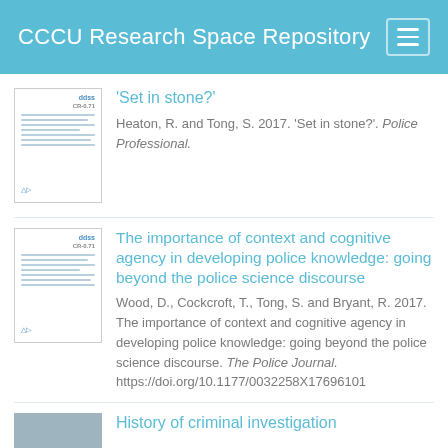CCCU Research Space Repository
'Set in stone?'
Heaton, R. and Tong, S. 2017. 'Set in stone?'. Police Professional.
The importance of context and cognitive agency in developing police knowledge: going beyond the police science discourse
Wood, D., Cockcroft, T., Tong, S. and Bryant, R. 2017. The importance of context and cognitive agency in developing police knowledge: going beyond the police science discourse. The Police Journal. https://doi.org/10.1177/0032258X17696101
History of criminal investigation